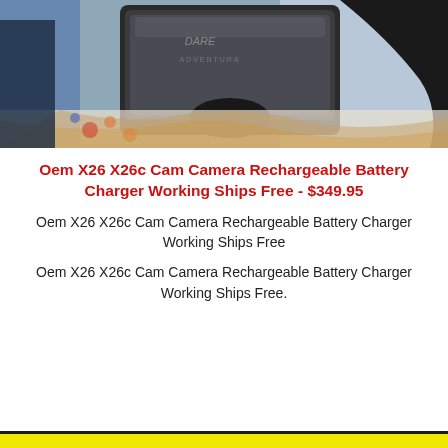[Figure (photo): Close-up photo of a camera rechargeable battery charger device, dark colored with textured surface, held against a colorful background]
Oem X26 X26c Cam Camera Rechargeable Battery Charger Working Ships Free - $349.95
Oem X26 X26c Cam Camera Rechargeable Battery Charger Working Ships Free
Oem X26 X26c Cam Camera Rechargeable Battery Charger Working Ships Free.